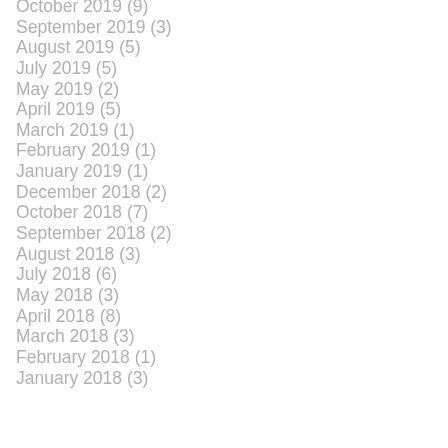October 2019 (9)
September 2019 (3)
August 2019 (5)
July 2019 (5)
May 2019 (2)
April 2019 (5)
March 2019 (1)
February 2019 (1)
January 2019 (1)
December 2018 (2)
October 2018 (7)
September 2018 (2)
August 2018 (3)
July 2018 (6)
May 2018 (3)
April 2018 (8)
March 2018 (3)
February 2018 (1)
January 2018 (3)